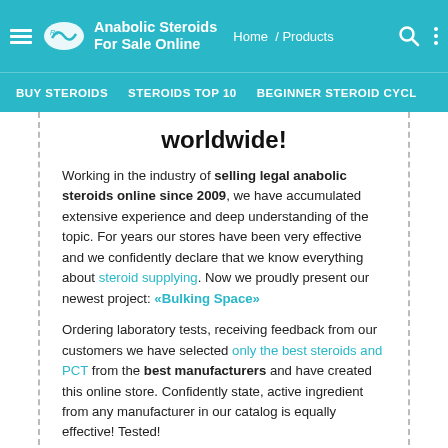Anabolic Steroids For Sale Online | Home / Products
BUY STEROIDS  STEROIDS TOP 10  BEGINNER STEROID CYCL
worldwide!
Working in the industry of selling legal anabolic steroids online since 2009, we have accumulated extensive experience and deep understanding of the topic. For years our stores have been very effective and we confidently declare that we know everything about steroid supplying. Now we proudly present our newest project: «Bulking Space»
Ordering laboratory tests, receiving feedback from our customers we have selected only the best steroids and PCT from the best manufacturers and have created this online store. Confidently state, active ingredient from any manufacturer in our catalog is equally effective! Tested!
In catalog of anabolic-steroids.roids.space there are the steroids, hormones and PCT from worldwide known manufacturers, such as Alpha Pharma, Maxtreme, Eminence